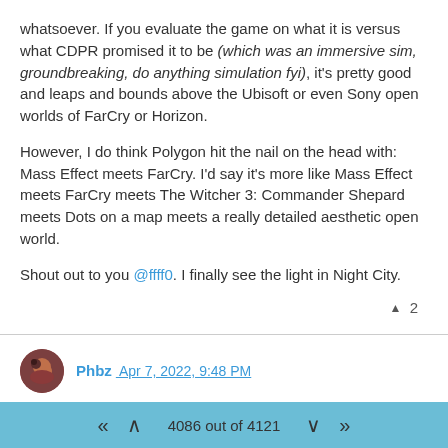whatsoever. If you evaluate the game on what it is versus what CDPR promised it to be (which was an immersive sim, groundbreaking, do anything simulation fyi), it's pretty good and leaps and bounds above the Ubisoft or even Sony open worlds of FarCry or Horizon.
However, I do think Polygon hit the nail on the head with: Mass Effect meets FarCry. I'd say it's more like Mass Effect meets FarCry meets The Witcher 3: Commander Shepard meets Dots on a map meets a really detailed aesthetic open world.
Shout out to you @ffff0. I finally see the light in Night City.
▲ 2
Phbz Apr 7, 2022, 9:48 PM
Started to play Guardians of the Galaxy. Right after ER this is kind of a rough experience.
On one side, so far, this is a really well designed 3rd person action game. It flows really well.
4086 out of 4121